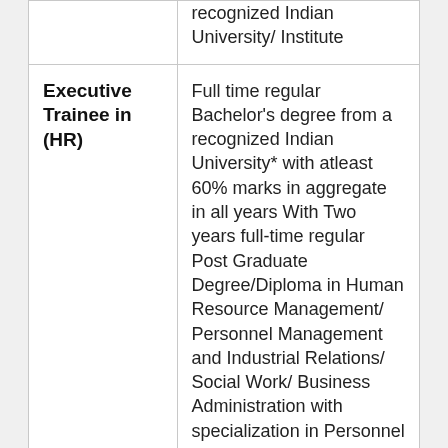| Post | Educational Qualification |
| --- | --- |
|  | recognized Indian University/ Institute |
| Executive Trainee in (HR) | Full time regular Bachelor's degree from a recognized Indian University* with atleast 60% marks in aggregate in all years With Two years full-time regular Post Graduate Degree/Diploma in Human Resource Management/ Personnel Management and Industrial Relations/ Social Work/ Business Administration with specialization in Personnel Management or Labour Welfare or HRM from a recognized |